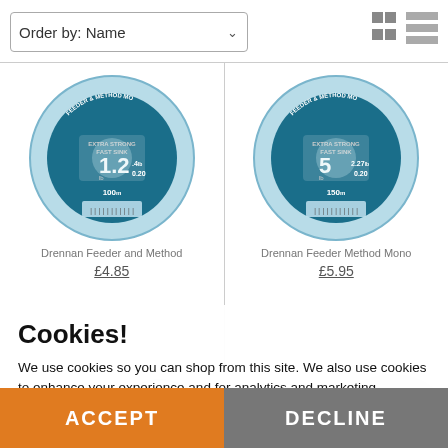Order by: Name
[Figure (photo): Drennan Feeder and Method fishing line spool product image]
[Figure (photo): Drennan Feeder Method Mono fishing line spool product image]
Drennan Feeder and Method
Drennan Feeder Method Mono
£4.85
£5.95
Cookies!
We use cookies so you can shop from this site. We also use cookies to enhance your experience and for analytics and marketing purposes. By clicking "Accept" below, you are agreeing to these cookies. To find out more about our cookies please click here.
ACCEPT
DECLINE